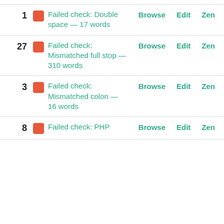1 Failed check: Double space — 17 words Browse Edit Zen
27 Failed check: Mismatched full stop — 310 words Browse Edit Zen
3 Failed check: Mismatched colon — 16 words Browse Edit Zen
8 Failed check: PHP Browse Edit Zen